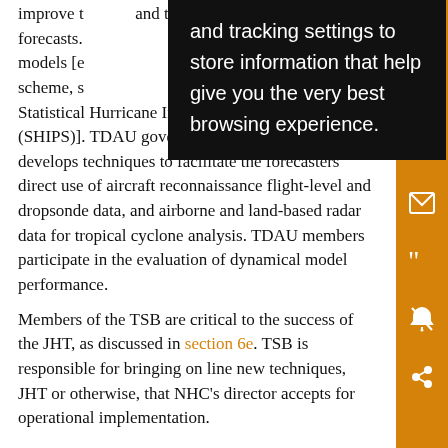improve the forecasts. models [e... scheme, s... Statistical Hurricane Intensity Prediction Scheme (SHIPS)]. TDAU governs the ATCF. It also develops techniques to facilitate the forecasters' direct use of aircraft reconnaissance flight-level and dropsonde data, and airborne and land-based radar data for tropical cyclone analysis. TDAU members participate in the evaluation of dynamical model performance.
Members of the TSB are critical to the success of the JHT, as discussed in section 6e. TSB is responsible for bringing on line new techniques, JHT or otherwise, that NHC's director accepts for operational implementation.